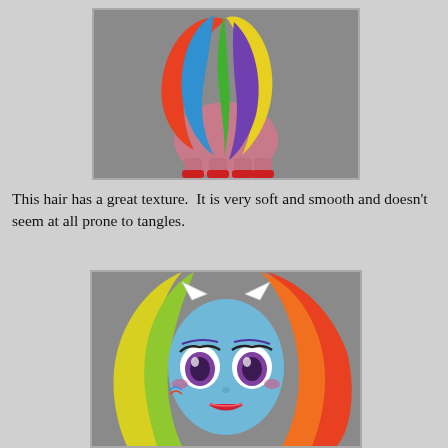[Figure (photo): Back view of a My Little Pony toy with rainbow-colored hair (orange, blue, yellow, purple) and red shoes on a gray background]
This hair has a great texture.  It is very soft and smooth and doesn't seem at all prone to tangles.
[Figure (photo): Front face view of a My Little Pony Equestria Girls doll with blue skin, large dark eyes, rainbow hair (red, orange, yellow, green), small white pony ears, against gray background]